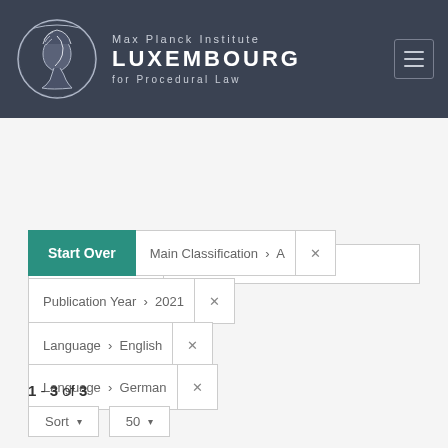[Figure (logo): Max Planck Institute Luxembourg for Procedural Law header with circular coin logo and menu icon]
[Figure (screenshot): Search bar with All Fields dropdown and Search... placeholder text with teal search button]
Start Over | Main Classification > A ✕
Publication Year > 2021 ✕
Language > English ✕
Language > German ✕
1 - 3 of 3
Sort ▾  50 ▾